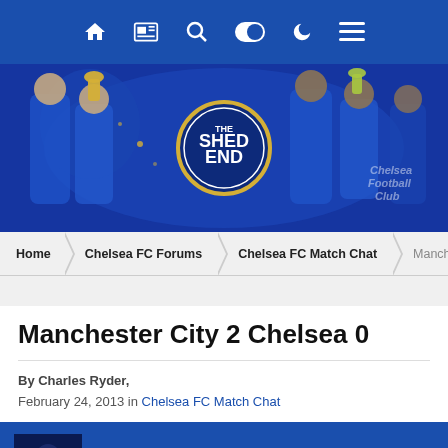Navigation bar with home, newspaper, search, toggle, night mode, menu icons
[Figure (illustration): The Shed End website banner showing Chelsea FC players celebrating with trophies and The Shed End circular logo in the center. Players in blue Chelsea kit visible on both sides.]
Home > Chelsea FC Forums > Chelsea FC Match Chat > Manchester Ci...
Manchester City 2 Chelsea 0
By Charles Ryder,
February 24, 2013 in Chelsea FC Match Chat
Charles Ryder
Posted February 24, 2013
Chelsea's top four hopes took a blow this afternoon, after a defeat